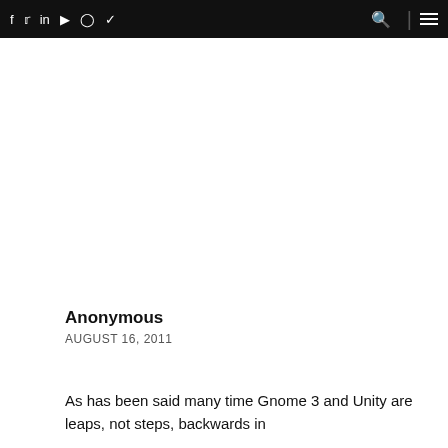f  t  in  yt  insta  rss  [search] | [menu]
Anonymous
AUGUST 16, 2011
As has been said many time Gnome 3 and Unity are leaps, not steps, backwards in